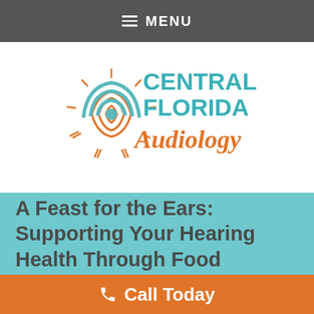MENU
[Figure (logo): Central Florida Audiology logo with a sun/sound wave graphic in orange and teal, with 'CENTRAL FLORIDA' in teal and 'Audiology' in orange script]
A Feast for the Ears: Supporting Your Hearing Health Through Food
Call Today